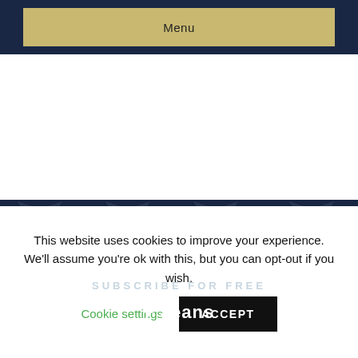Menu
[Figure (illustration): Dark navy background section with repeating Viking mascot logo pattern (winged figure with turban), with text 'SUBSCRIBE FOR FREE' centered over the pattern]
This website uses cookies to improve your experience. We'll assume you're ok with this, but you can opt-out if you wish.
Cookie settings
ACCEPT